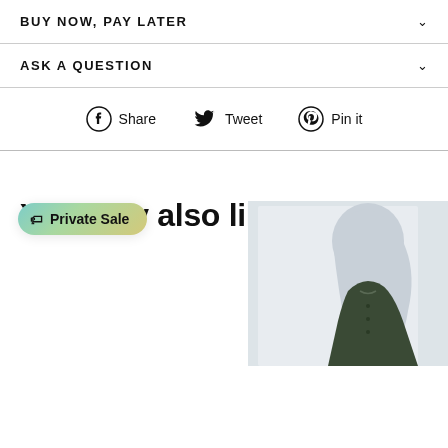BUY NOW, PAY LATER
ASK A QUESTION
Share  Tweet  Pin it
You may also like
[Figure (other): Private Sale badge/tooltip overlay]
[Figure (photo): Woman wearing hijab and dark green outfit, partial view]